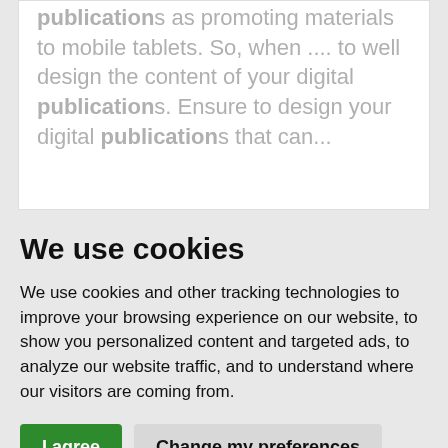publications as promoting materials to mobile tablets. So, when .... to well design the content of your digital publications. Ensure to design your digital publications that can...
We use cookies
We use cookies and other tracking technologies to improve your browsing experience on our website, to show you personalized content and targeted ads, to analyze our website traffic, and to understand where our visitors are coming from.